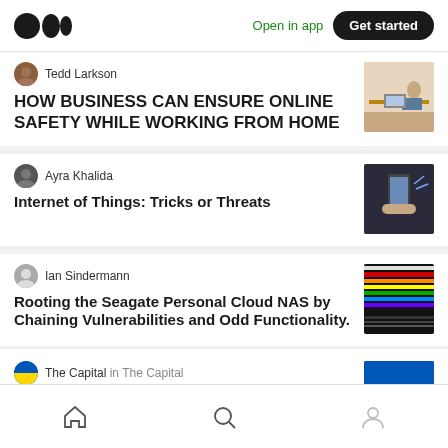Medium logo | Open in app | Get started
Tedd Larkson
HOW BUSINESS CAN ENSURE ONLINE SAFETY WHILE WORKING FROM HOME
[Figure (photo): Person working at a desk from home illustration]
Ayra Khalida
Internet of Things: Tricks or Threats
[Figure (photo): Person holding smartphone with digital interfaces]
Ian Sindermann
Rooting the Seagate Personal Cloud NAS by Chaining Vulnerabilities and Odd Functionality.
[Figure (photo): Abstract colorful horizontal stripes on dark background]
The Capital in The Capital
Home | Search | Profile